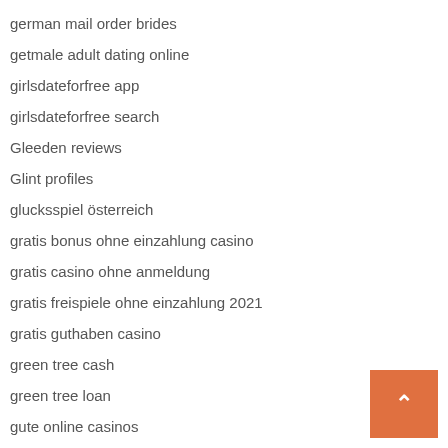german mail order brides
getmale adult dating online
girlsdateforfree app
girlsdateforfree search
Gleeden reviews
Glint profiles
glucksspiel österreich
gratis bonus ohne einzahlung casino
gratis casino ohne anmeldung
gratis freispiele ohne einzahlung 2021
gratis guthaben casino
green tree cash
green tree loan
gute online casinos
habbo review